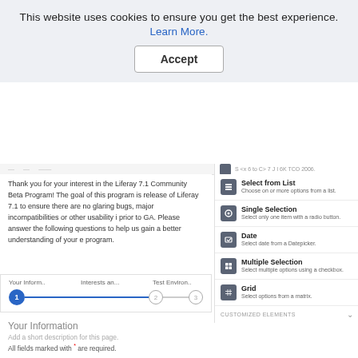This website uses cookies to ensure you get the best experience. Learn More.
Accept
Thank you for your interest in the Liferay 7.1 Community Beta Program! The goal of this program is release of Liferay 7.1 to ensure there are no glaring bugs, major incompatibilities or other usability i prior to GA. Please answer the following questions to help us gain a better understanding of your e program.
Select from List
Choose on or more options from a list.
Single Selection
Select only one item with a radio button.
Date
Select date from a Datepicker.
Multiple Selection
Select multiple options using a checkbox.
Grid
Select options from a matrix.
CUSTOMIZED ELEMENTS
Your Inform...	1	Interests an...	2	Test Environ...	3
Your Information
Add a short description for this page.
All fields marked with * are required.
Name *	Email Address *